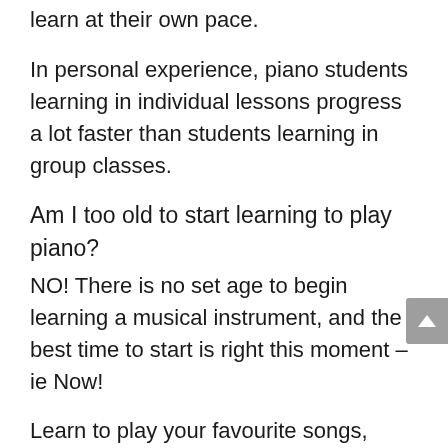learn at their own pace.
In personal experience, piano students learning in individual lessons progress a lot faster than students learning in group classes.
Am I too old to start learning to play piano?
NO! There is no set age to begin learning a musical instrument, and the best time to start is right this moment – ie Now!
Learn to play your favourite songs, learn how to read music, learn theory, or just about